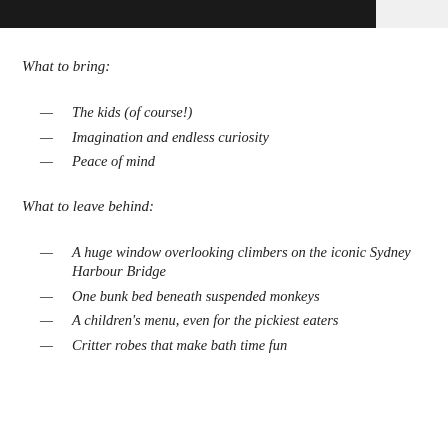What to bring:
The kids (of course!)
Imagination and endless curiosity
Peace of mind
What to leave behind:
A huge window overlooking climbers on the iconic Sydney Harbour Bridge
One bunk bed beneath suspended monkeys
A children's menu, even for the pickiest eaters
Critter robes that make bath time fun